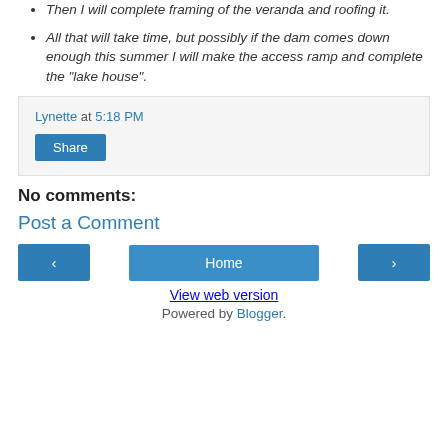Then I will complete framing of the veranda and roofing it.
All that will take time, but possibly if the dam comes down enough this summer I will make the access ramp and complete the "lake house".
Lynette at 5:18 PM
Share
No comments:
Post a Comment
‹  Home  ›
View web version
Powered by Blogger.